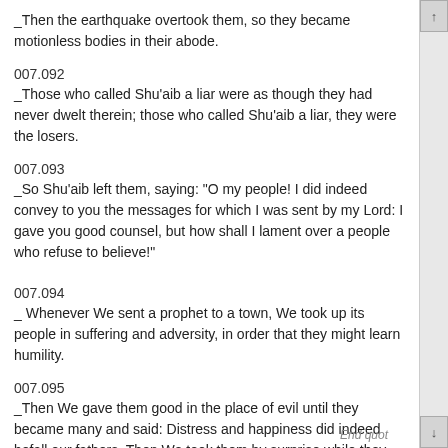_Then the earthquake overtook them, so they became motionless bodies in their abode.
007.092
_Those who called Shu'aib a liar were as though they had never dwelt therein; those who called Shu'aib a liar, they were the losers.
007.093
_So Shu'aib left them, saying: "O my people! I did indeed convey to you the messages for which I was sent by my Lord: I gave you good counsel, but how shall I lament over a people who refuse to believe!"
007.094
_ Whenever We sent a prophet to a town, We took up its people in suffering and adversity, in order that they might learn humility.
007.095
_Then We gave them good in the place of evil until they became many and said: Distress and happiness did indeed befall our fathers. Then We took them by surprise while they did not perceive.
End quot